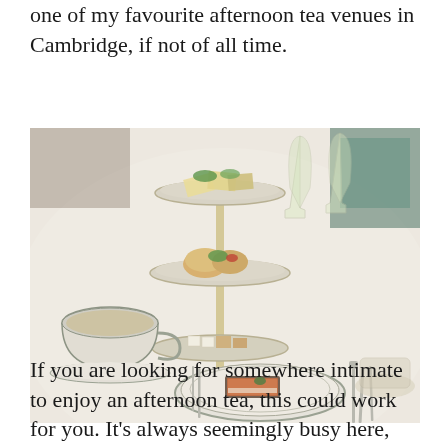one of my favourite afternoon tea venues in Cambridge, if not of all time.
[Figure (photo): Overhead view of an afternoon tea table setting with a three-tiered cake stand holding sandwiches and scones, champagne flutes, a teacup, and a plate with smoked salmon on toast, on a white tablecloth.]
If you are looking for somewhere intimate to enjoy an afternoon tea, this could work for you. It's always seemingly busy here, but you are sat far enough away from everyone